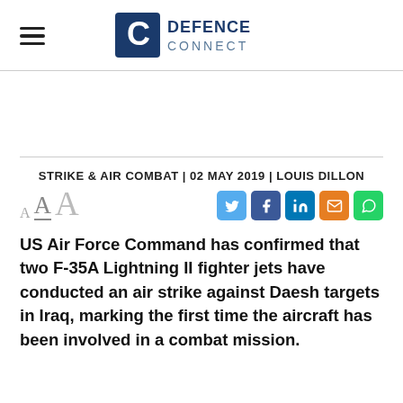DEFENCE CONNECT
STRIKE & AIR COMBAT | 02 MAY 2019 | LOUIS DILLON
US Air Force Command has confirmed that two F-35A Lightning II fighter jets have conducted an air strike against Daesh targets in Iraq, marking the first time the aircraft has been involved in a combat mission.